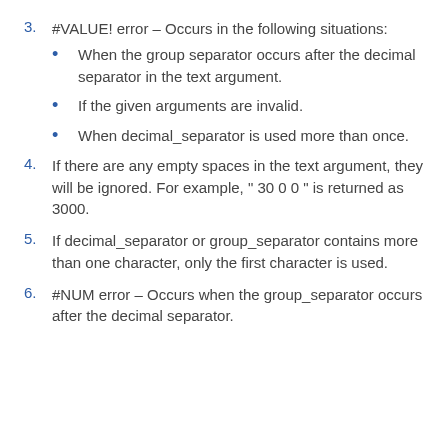3. #VALUE! error – Occurs in the following situations:
When the group separator occurs after the decimal separator in the text argument.
If the given arguments are invalid.
When decimal_separator is used more than once.
4. If there are any empty spaces in the text argument, they will be ignored. For example, " 30 0 0 " is returned as 3000.
5. If decimal_separator or group_separator contains more than one character, only the first character is used.
6. #NUM error – Occurs when the group_separator occurs after the decimal separator.